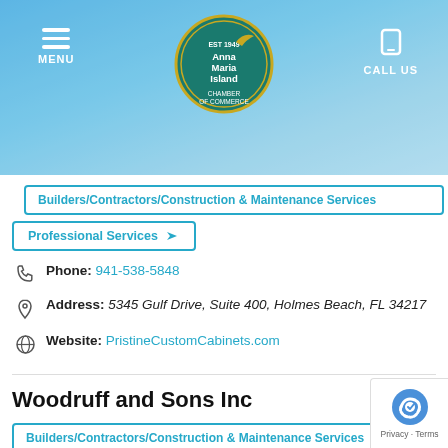[Figure (screenshot): Anna Maria Island Chamber of Commerce website header with blue sky background, hamburger menu icon on left, chamber of commerce circular logo in center, phone/call us icon on right]
Builders/Contractors/Construction & Maintenance Services
Professional Services
Phone: 941-538-5848
Address: 5345 Gulf Drive, Suite 400, Holmes Beach, FL 34217
Website: PristineCustomCabinets.com
Woodruff and Sons Inc
Builders/Contractors/Construction & Maintenance Services
Professional Services
Family owned since 1946, state licensed general contractor,